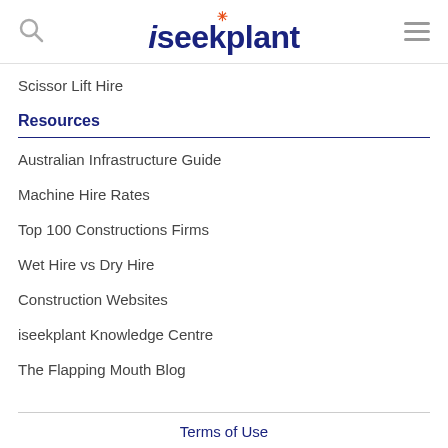iseekplant
Scissor Lift Hire
Resources
Australian Infrastructure Guide
Machine Hire Rates
Top 100 Constructions Firms
Wet Hire vs Dry Hire
Construction Websites
iseekplant Knowledge Centre
The Flapping Mouth Blog
Terms of Use